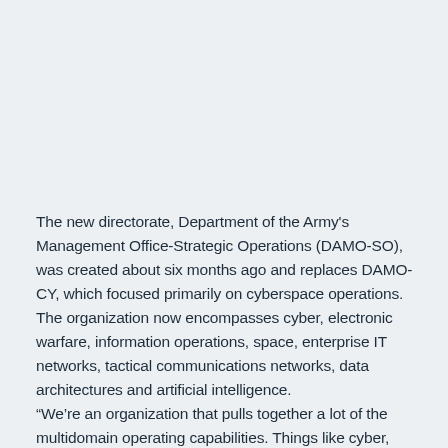The new directorate, Department of the Army's Management Office-Strategic Operations (DAMO-SO), was created about six months ago and replaces DAMO-CY, which focused primarily on cyberspace operations. The organization now encompasses cyber, electronic warfare, information operations, space, enterprise IT networks, tactical communications networks, data architectures and artificial intelligence.
“We’re an organization that pulls together a lot of the multidomain operating capabilities. Things like cyber, electronic warfare, information